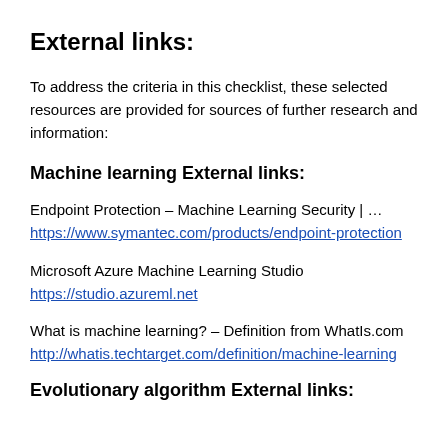External links:
To address the criteria in this checklist, these selected resources are provided for sources of further research and information:
Machine learning External links:
Endpoint Protection – Machine Learning Security | … https://www.symantec.com/products/endpoint-protection
Microsoft Azure Machine Learning Studio https://studio.azureml.net
What is machine learning? – Definition from WhatIs.com http://whatis.techtarget.com/definition/machine-learning
Evolutionary algorithm External links: